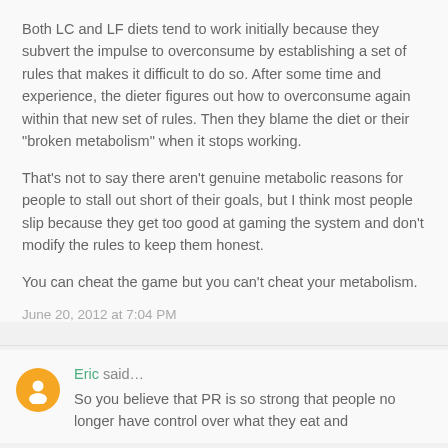Both LC and LF diets tend to work initially because they subvert the impulse to overconsume by establishing a set of rules that makes it difficult to do so. After some time and experience, the dieter figures out how to overconsume again within that new set of rules. Then they blame the diet or their "broken metabolism" when it stops working.
That's not to say there aren't genuine metabolic reasons for people to stall out short of their goals, but I think most people slip because they get too good at gaming the system and don't modify the rules to keep them honest.
You can cheat the game but you can't cheat your metabolism.
June 20, 2012 at 7:04 PM
Eric said...
So you believe that PR is so strong that people no longer have control over what they eat and